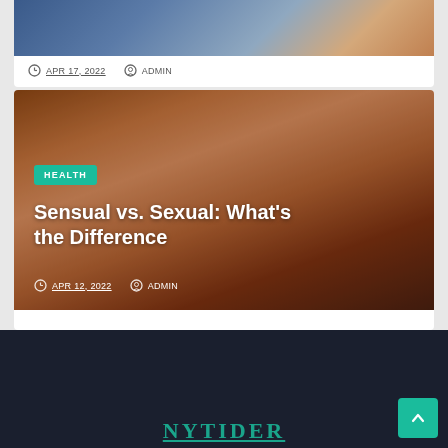[Figure (photo): Top card showing partial image with dark blue and warm tones, partially cropped]
APR 17, 2022   ADMIN
[Figure (photo): Article card image showing hands intertwined with warm brown/orange tones, overlaid with HEALTH badge and article title]
HEALTH
Sensual vs. Sexual: What's the Difference
APR 12, 2022   ADMIN
[Figure (logo): NYTIDER logo text in teal/green on dark navy footer background]